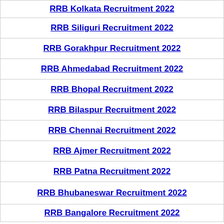RRB Kolkata Recruitment 2022
RRB Siliguri Recruitment 2022
RRB Gorakhpur Recruitment 2022
RRB Ahmedabad Recruitment 2022
RRB Bhopal Recruitment 2022
RRB Bilaspur Recruitment 2022
RRB Chennai Recruitment 2022
RRB Ajmer Recruitment 2022
RRB Patna Recruitment 2022
RRB Bhubaneswar Recruitment 2022
RRB Bangalore Recruitment 2022